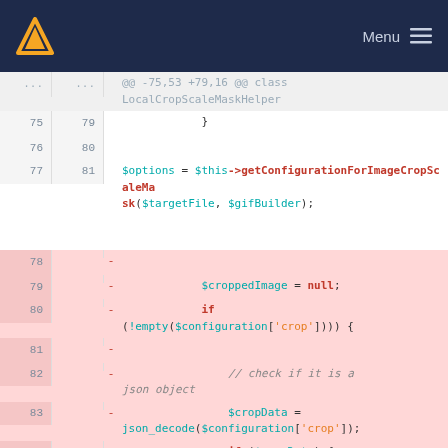Menu
[Figure (screenshot): Code diff view showing PHP code changes in LocalCropScaleMaskHelper class, lines 75-85]
@@ -75,53 +79,16 @@ class LocalCropScaleMaskHelper
75  79    }
76  80
77  81        $options = $this->getConfigurationForImageCropScaleMask($targetFile, $gifBuilder);
78     -
79     -            $croppedImage = null;
80     -            if (!empty($configuration['crop'])) {
81     -
82     -                // check if it is a json object
83     -                $cropData = json_decode($configuration['crop']);
84     -                if ($cropData) {
85     -                    $crop = implode(',', [(int)$cropData->x, (int)$cropData->y, (int)$cropData->width,